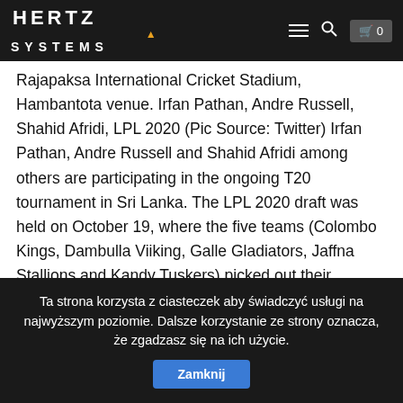HERTZ SYSTEMS
Rajapaksa International Cricket Stadium, Hambantota venue. Irfan Pathan, Andre Russell, Shahid Afridi, LPL 2020 (Pic Source: Twitter) Irfan Pathan, Andre Russell and Shahid Afridi among others are participating in the ongoing T20 tournament in Sri Lanka. The LPL 2020 draft was held on October 19, where the five teams (Colombo Kings, Dambulla Viiking, Galle Gladiators, Jaffna Stallions and Kandy Tuskers) picked out their squads. The 1st edition of the Lanka Premier League (LPL) will be played between five teams including Colombo Kings, Dambulla Viiking, Galle Gladiators, Jaffna Stallions and Kandy Tuskers will participate in LPL. The Lanka Premier League (LPL) will start on November 26. Still, LPL 2020 promises to be an entertaining competition, with four Indian players announced to play. David Miller, Dawid malan and Faf du Plessis have become
Ta strona korzysta z ciasteczek aby świadczyć usługi na najwyższym poziomie. Dalsze korzystanie ze strony oznacza, że zgadzasz się na ich użycie. Zamknij